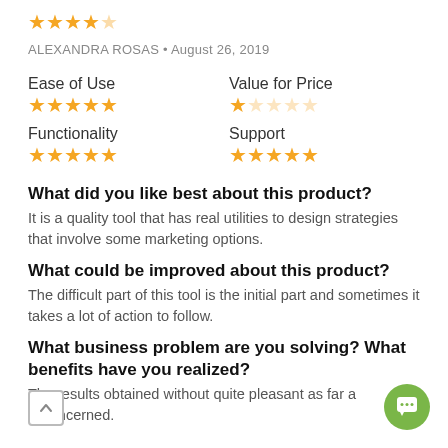[Figure (other): 4.5 out of 5 stars rating (top overall stars, partially filled last star)]
ALEXANDRA ROSAS • August 26, 2019
Ease of Use
[Figure (other): 5 out of 5 stars for Ease of Use]
Value for Price
[Figure (other): 1 out of 5 stars for Value for Price]
Functionality
[Figure (other): 5 out of 5 stars for Functionality]
Support
[Figure (other): 5 out of 5 stars for Support]
What did you like best about this product?
It is a quality tool that has real utilities to design strategies that involve some marketing options.
What could be improved about this product?
The difficult part of this tool is the initial part and sometimes it takes a lot of action to follow.
What business problem are you solving? What benefits have you realized?
The results obtained without quite pleasant as far as concerned.